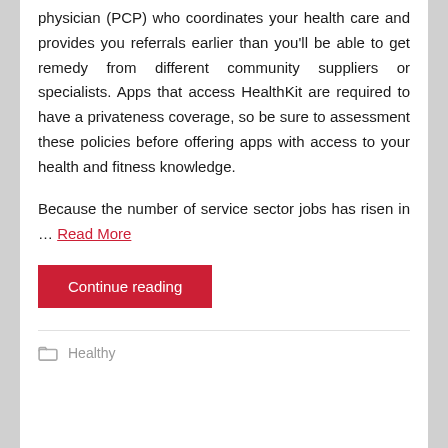physician (PCP) who coordinates your health care and provides you referrals earlier than you'll be able to get remedy from different community suppliers or specialists. Apps that access HealthKit are required to have a privateness coverage, so be sure to assessment these policies before offering apps with access to your health and fitness knowledge.
Because the number of service sector jobs has risen in … Read More
Continue reading
Healthy